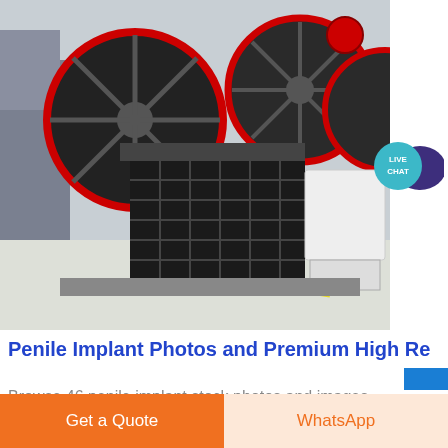GET PRICE
[Figure (photo): Industrial jaw crusher machines with large red and black flywheels in a factory setting]
[Figure (other): Live Chat speech bubble icon - teal/blue circle with white text LIVE CHAT and dark purple speech bubble]
Penile Implant Photos and Premium High Re
Browse 46 penile implant stock photos and images available, or start a new search to explore more stock photos and images. Photo Essay At Lyon Hospital. Department Of Urology. Surgical Treatment Of Erectile
Get a Quote
WhatsApp